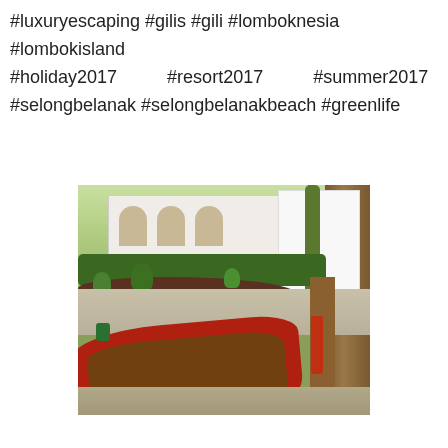#luxuryescaping #gilis #gili #lomboknesia #lombokisland #holiday2017 #resort2017 #summer2017 #selongbelanak #selongbelanakbeach #greenlife
[Figure (photo): Outdoor resort garden photo showing a red-painted traditional wooden boat used as a planter in the foreground, surrounded by tropical plants, dark soil garden beds, a paved path, white resort buildings with arched doorways in the background, lush green hedges, and a large tree trunk on the right side.]